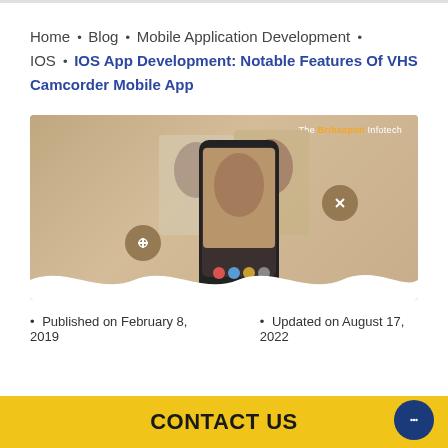Home · Blog · Mobile Application Development · IOS · IOS App Development: Notable Features Of VHS Camcorder Mobile App
[Figure (photo): Promotional hero image for VHS Camcorder Mobile App showing a smartphone displaying vintage-style photos with circular icon buttons, on a tan/beige background with wavy white bottom edge. Watermark reads 'The Brihaspati Infotech'.]
• Published on February 8, 2019    • Updated on August 17, 2022
CONTACT US